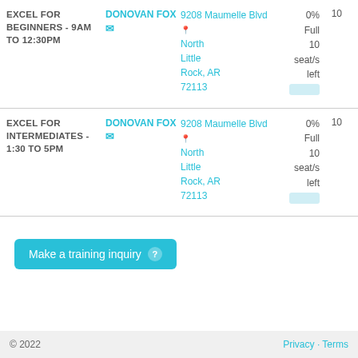| Course | Instructor | Location | Availability | Seats |
| --- | --- | --- | --- | --- |
| EXCEL FOR BEGINNERS - 9AM TO 12:30PM | DONOVAN FOX | 9208 Maumelle Blvd North Little Rock, AR 72113 | 0% Full 10 seat/s left | 10 |
| EXCEL FOR INTERMEDIATES - 1:30 TO 5PM | DONOVAN FOX | 9208 Maumelle Blvd North Little Rock, AR 72113 | 0% Full 10 seat/s left | 10 |
Make a training inquiry
© 2022   Privacy · Terms